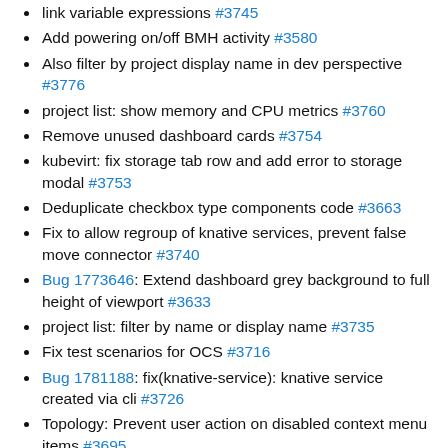link variable expressions #3745
Add powering on/off BMH activity #3580
Also filter by project display name in dev perspective #3776
project list: show memory and CPU metrics #3760
Remove unused dashboard cards #3754
kubevirt: fix storage tab row and add error to storage modal #3753
Deduplicate checkbox type components code #3663
Fix to allow regroup of knative services, prevent false move connector #3740
Bug 1773646: Extend dashboard grey background to full height of viewport #3633
project list: filter by name or display name #3735
Fix test scenarios for OCS #3716
Bug 1781188: fix(knative-service): knative service created via cli #3726
Topology: Prevent user action on disabled context menu items #3695